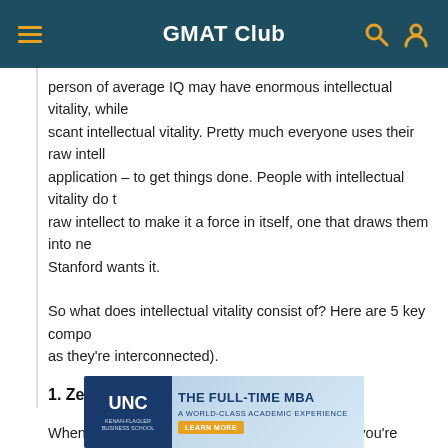GMAT Club
person of average IQ may have enormous intellectual vitality, while a person of high IQ may have scant intellectual vitality. Pretty much everyone uses their raw intellect as a tool — as a practical application – to get things done. People with intellectual vitality do that and more; they use their raw intellect to make it a force in itself, one that draws them into new ideas and explorations. Stanford wants it.
So what does intellectual vitality consist of? Here are 5 key components (they're separated for clarity as they're interconnected).
1. Zest for ideas.
When you encounter a new or challenging idea, you're tantalized. You think: What does this mean? Where did it come from? And how, and why? You relish ideas that challenge and expand you. You value them as a new lens to see through.
[Figure (advertisement): UNC Kenan-Flagler Business School advertisement: THE FULL-TIME MBA A WORLD-CLASS ACADEMIC EXPERIENCE with LEARN MORE button]